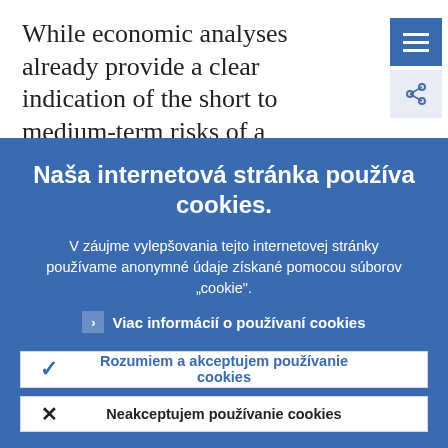While economic analyses already provide a clear indication of the short to medium-term risks of a deflationary scenario, it
[Figure (screenshot): Blue hamburger menu button (three horizontal white lines) in top right corner, with a share icon below it on a light blue/grey background]
Naša internetová stránka používa cookies.
V záujme vylepšovania tejto internetovej stránky používame anonymné údaje získané pomocou súborov „cookie".
> Viac informácií o používaní cookies
✓ Rozumiem a akceptujem používanie cookies
✕ Neakceptujem používanie cookies